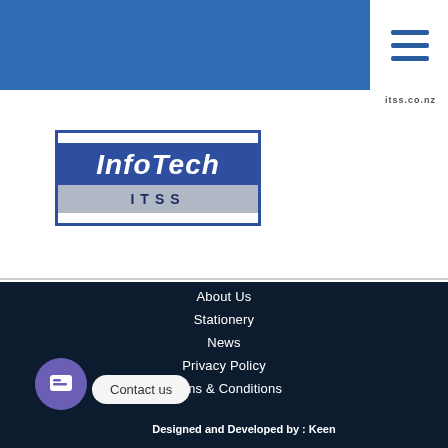[Figure (logo): InfoTech ITSS logo with blue background for 'InfoTech' text and grey band for 'ITSS' text]
About Us
Stationery
News
Privacy Policy
Terms & Conditions
Designed and Developed by : Keen